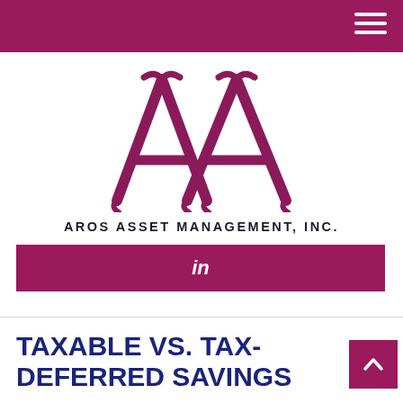[Figure (logo): Aros Asset Management, Inc. double-A logo mark in maroon/dark red color, stylized interlocking letter A design]
AROS ASSET MANAGEMENT, INC.
[Figure (other): Maroon LinkedIn banner bar with 'in' text]
TAXABLE VS. TAX-DEFERRED SAVINGS